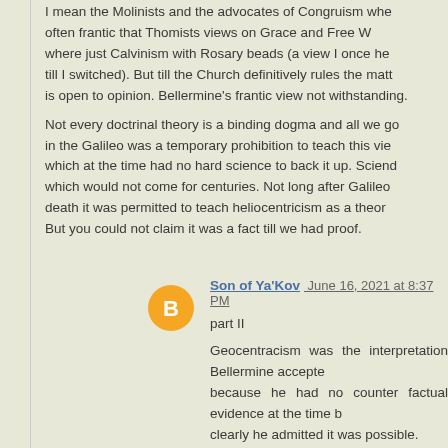I mean the Molinists and the advocates of Congruism whe... often frantic that Thomists views on Grace and Free W... where just Calvinism with Rosary beads (a view I once he... till I switched). But till the Church definitively rules the matt... is open to opinion. Bellermine's frantic view not withstanding.
Not every doctrinal theory is a binding dogma and all we g... in the Galileo was a temporary prohibition to teach this vie... which at the time had no hard science to back it up. Scien... which would not come for centuries. Not long after Galileo... death it was permitted to teach heliocentricism as a theor... But you could not claim it was a fact till we had proof.
Son of Ya'Kov June 16, 2021 at 8:37 PM
part II
Geocentracism was the interpretation Bellermine accepte... because he had no counter factual evidence at the time b... clearly he admitted it was possible.
>And yes, Bellarmine could say the same thing about th... Deity of Christ, mutatis mutandis.